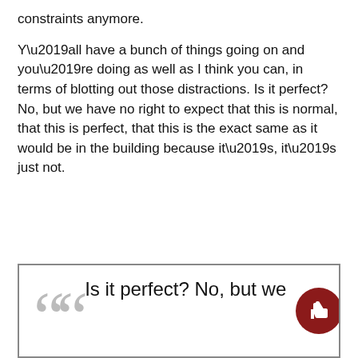constraints anymore.
Y’all have a bunch of things going on and you’re doing as well as I think you can, in terms of blotting out those distractions. Is it perfect? No, but we have no right to expect that this is normal, that this is perfect, that this is the exact same as it would be in the building because it’s, it’s just not.
[Figure (other): Pull quote box with large decorative opening quotation marks and the beginning of the text: “Is it perfect? No, but we” along with a dark red circular thumbs-up button in the bottom-right corner.]